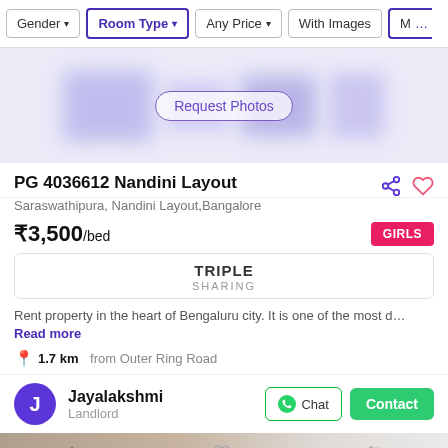Gender | Room Type | Any Price | With Images | M...
[Figure (photo): Blurred placeholder photo area with 'Request Photos' button overlay]
PG 4036612 Nandini Layout
Saraswathipura, Nandini Layout,Bangalore
₹3,500/bed
TRIPLE SHARING
Rent property in the heart of Bengaluru city. It is one of the most d... Read more
1.7 km from Outer Ring Road
Jayalakshmi Landlord
Sort | Saved | Filter